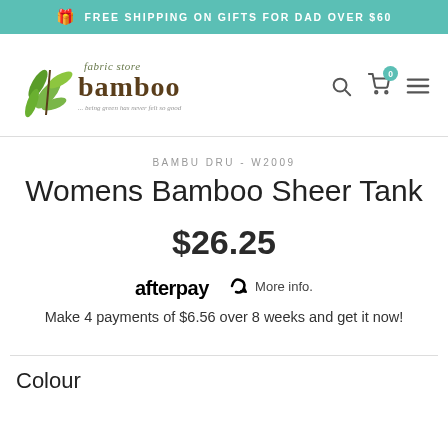FREE SHIPPING ON GIFTS FOR DAD OVER $60
[Figure (logo): Bamboo Fabric Store logo with green bamboo leaves and text 'fabric store bamboo ... being green has never felt so good']
BAMBU DRU - W2009
Womens Bamboo Sheer Tank
$26.25
afterpay More info.
Make 4 payments of $6.56 over 8 weeks and get it now!
Colour